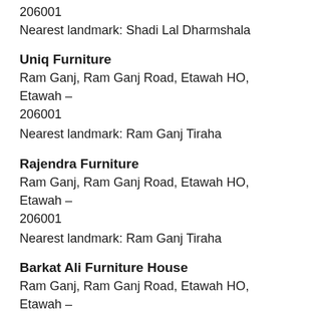206001
Nearest landmark: Shadi Lal Dharmshala
Uniq Furniture
Ram Ganj, Ram Ganj Road, Etawah HO, Etawah – 206001
Nearest landmark: Ram Ganj Tiraha
Rajendra Furniture
Ram Ganj, Ram Ganj Road, Etawah HO, Etawah – 206001
Nearest landmark: Ram Ganj Tiraha
Barkat Ali Furniture House
Ram Ganj, Ram Ganj Road, Etawah HO, Etawah – 206001
Nearest landmark: Ram Ganj Tiraha